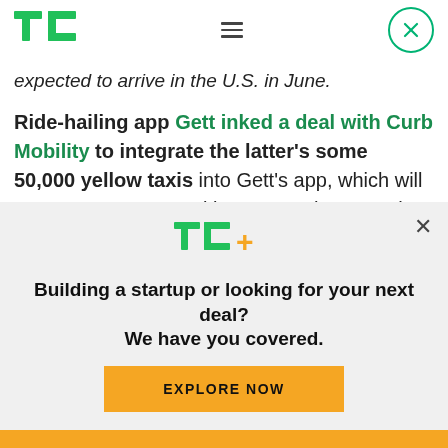TechCrunch header with logo, hamburger menu, and close button
expected to arrive in the U.S. in June.
Ride-hailing app Gett inked a deal with Curb Mobility to integrate the latter's some 50,000 yellow taxis into Gett's app, which will now cover some 65 cities across the U.S. The deal does not involve any investment between Gett and Curb.
[Figure (logo): TechCrunch TC+ logo in green and yellow]
Building a startup or looking for your next deal? We have you covered.
EXPLORE NOW